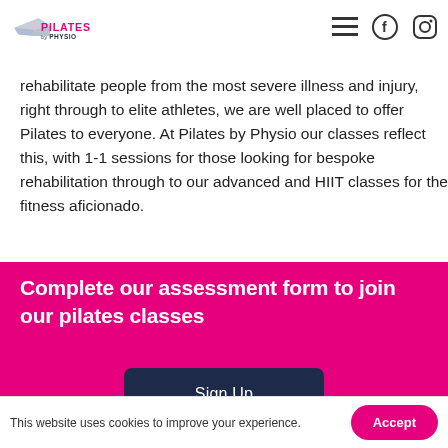Pilates by Physio — navigation header with logo, hamburger menu, Facebook and Instagram icons
rehabilitate people from the most severe illness and injury, right through to elite athletes, we are well placed to offer Pilates to everyone. At Pilates by Physio our classes reflect this, with 1-1 sessions for those looking for bespoke rehabilitation through to our advanced and HIIT classes for the fitness aficionado.
Complete our assessment form to join our pilates classes
Sign Up
This website uses cookies to improve your experience.
Accept